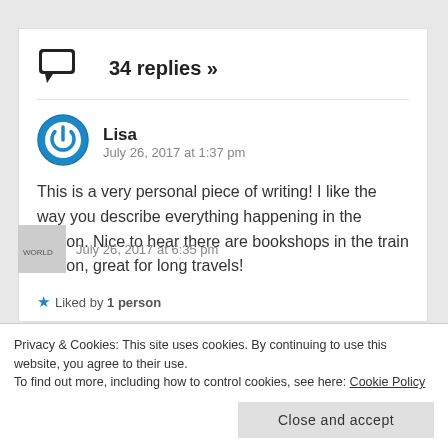34 replies »
Lisa
July 26, 2017 at 1:37 pm
This is a very personal piece of writing! I like the way you describe everything happening in the station. Nice to hear there are bookshops in the train station, great for long travels!
Liked by 1 person
Privacy & Cookies: This site uses cookies. By continuing to use this website, you agree to their use.
To find out more, including how to control cookies, see here: Cookie Policy
Close and accept
July 26, 2017 at 6:35 pm